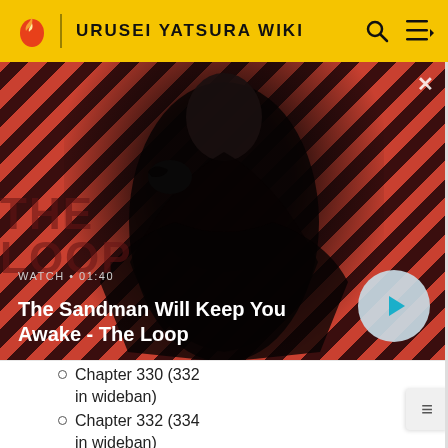URUSEI YATSURA WIKI
[Figure (screenshot): Video thumbnail showing a dark-clad figure with a raven on shoulder against red and black diagonal striped background. Labeled 'The Sandman Will Keep You Awake - The Loop' with WATCH • 01:40 label and a play button.]
WATCH • 01:40
The Sandman Will Keep You Awake - The Loop
Chapter 330 (332 in wideban)
Chapter 332 (334 in wideban)
Chapter 333 (335 in wideban)
Chapter 336